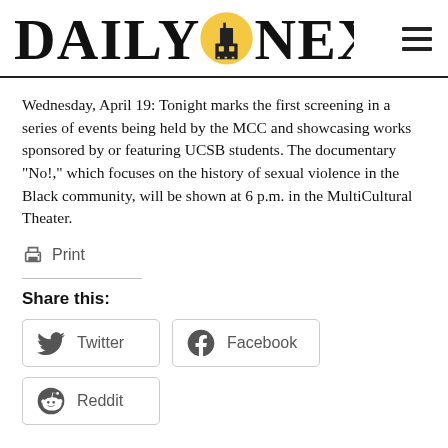Daily Nexus
Wednesday, April 19: Tonight marks the first screening in a series of events being held by the MCC and showcasing works sponsored by or featuring UCSB students. The documentary “No!” which focuses on the history of sexual violence in the Black community, will be shown at 6 p.m. in the MultiCultural Theater.
Print
Share this:
Twitter
Facebook
Reddit